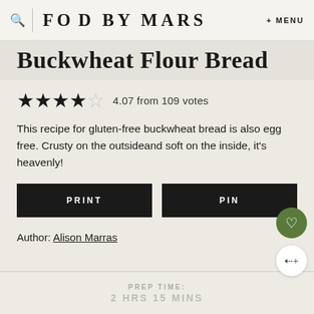FOOD BY MARS + MENU
Buckwheat Flour Bread
4.07 from 109 votes
This recipe for gluten-free buckwheat bread is also egg free. Crusty on the outsideand soft on the inside, it's heavenly!
PRINT
PIN
Author: Alison Marras
PREP TIME:
2 HRS 15 MINS